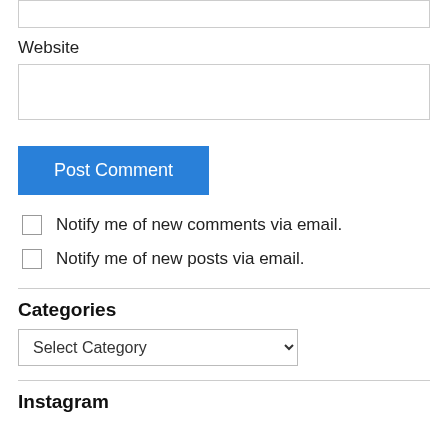Website
Post Comment
Notify me of new comments via email.
Notify me of new posts via email.
Categories
Select Category
Instagram